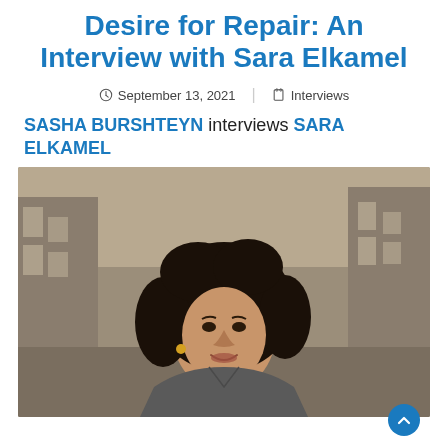Desire for Repair: An Interview with Sara Elkamel
September 13, 2021 | Interviews
SASHA BURSHTEYN interviews SARA ELKAMEL
[Figure (photo): Portrait photograph of Sara Elkamel, a young woman with curly dark hair, wearing a sleeveless grey top and gold earrings, smiling, with blurred urban building background.]